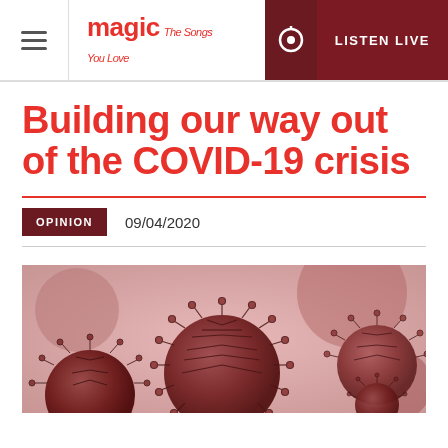magic The Songs You Love — LISTEN LIVE
Building our way out of the COVID-19 crisis
OPINION   09/04/2020
[Figure (photo): Close-up 3D render of coronavirus (COVID-19) particles on a pink/rose background, showing multiple spiky spherical viral particles in dark red/burgundy tones]